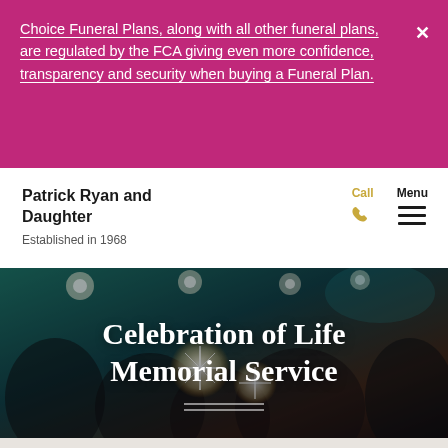Choice Funeral Plans, along with all other funeral plans, are regulated by the FCA giving even more confidence, transparency and security when buying a Funeral Plan.
Patrick Ryan and Daughter
Established in 1968
[Figure (screenshot): Hero image showing a group of smiling people holding sparklers at a celebration, with dark teal/dark background. Overlay text reads 'Celebration of Life Memorial Service'.]
Celebration of Life Memorial Service